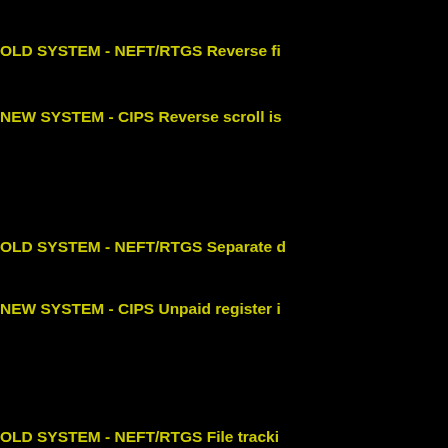OLD SYSTEM - NEFT/RTGS Reverse fi...
NEW SYSTEM - CIPS Reverse scroll is...
OLD SYSTEM - NEFT/RTGS Separate d...
NEW SYSTEM - CIPS Unpaid register i...
OLD SYSTEM - NEFT/RTGS File tracki...
NEW SYSTEM - CIPS File tracking ava...
S...
Admin Login | Site Map | Contact U... | © 2016 All R... | This is the Portal of Indian Railways, developed with an objective to enable a single window access t... | Portal is the result of a collaborative effort of various Indian Railways Entities ar...